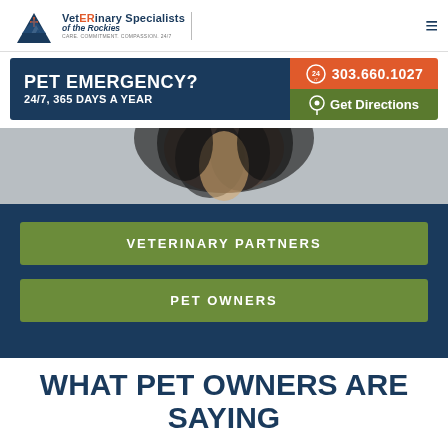VetERinary Specialists of the Rockies | Care. Commitment. Compassion. 24/7
[Figure (infographic): Pet emergency banner: dark blue left with PET EMERGENCY? 24/7, 365 DAYS A YEAR text; orange right panel with 24/7 clock icon and 303.660.1027 phone number; green right panel with map pin icon and Get Directions text]
[Figure (photo): Blurred photo of a black and white dog from below/close up, against a light gray background]
VETERINARY PARTNERS
PET OWNERS
WHAT PET OWNERS ARE SAYING